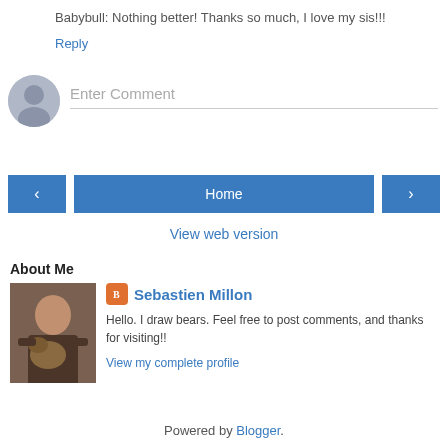Babybull: Nothing better! Thanks so much, I love my sis!!!
Reply
[Figure (other): Comment input field with user avatar placeholder icon]
Enter Comment
[Figure (other): Navigation bar with back arrow button, Home button, and forward arrow button]
View web version
About Me
[Figure (photo): Profile photo of Sebastien Millon holding a dog]
Sebastien Millon
Hello. I draw bears. Feel free to post comments, and thanks for visiting!!
View my complete profile
Powered by Blogger.